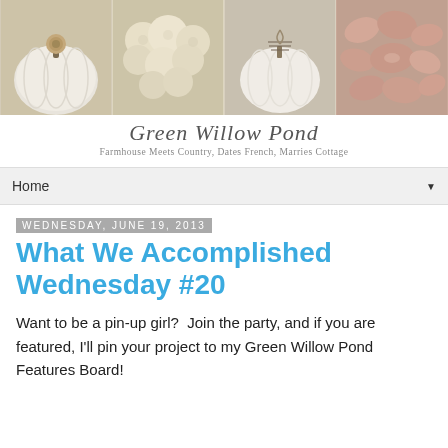[Figure (photo): Website header banner showing four decorative photos: a white pumpkin with burlap rose, cream hydrangea flowers, a white fabric pumpkin with nest topper, and pink ruffled flower petals]
Green Willow Pond
Farmhouse Meets Country, Dates French, Marries Cottage
Home
Wednesday, June 19, 2013
What We Accomplished Wednesday #20
Want to be a pin-up girl?  Join the party, and if you are featured, I'll pin your project to my Green Willow Pond Features Board!